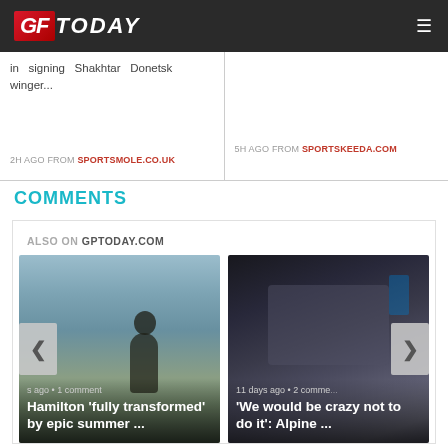GFToday — navigation header
in signing Shakhtar Donetsk winger...
2H AGO FROM SPORTSMOLE.CO.UK
5H AGO FROM SPORTSKEEDA.COM
COMMENTS
ALSO ON GPTODAY.COM
[Figure (photo): Person wearing hat sitting on cliff edge, outdoor scene]
s ago • 1 comment
Hamilton 'fully transformed' by epic summer ...
[Figure (photo): Crowd scene in F1 paddock with cameras and people]
11 days ago • 2 comments
'We would be crazy not to do it': Alpine ...